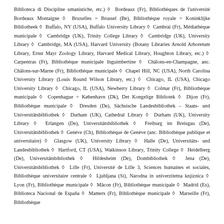Biblioteca di Discipline umanistiche, etc.) ◇ Bordeaux (Fr), Bibliothèques de l'université Bordeaux Montaigne ◇ Bruxelles = Brussel (Be), Bibliothèque royale = Koninklijke Bibliotheek ◇ Buffalo, NY (USA), Buffalo University Library ◇ Cambrai (Fr), Médiathèque municipale ◇ Cambridge (UK), Trinity College Library ◇ Cambridge (UK), University Library ◇ Cambridge, MA (USA), Harvard University (Botany Libraries Arnold Arboretum Library, Ernst Mayr Zoology Library, Harvard Medical Library, Houghton Library, etc.) ◇ Carpentras (Fr), Bibliothèque municipale Inguimbertine ◇ Châlons-en-Champagne, anc. Châlons-sur-Marne (Fr), Bibliothèque municipale ◇ Chapel Hill, NC (USA), North Carolina University Library (Louis Round Wilson Library, etc.) ◇ Chicago, IL (USA), Chicago University Library ◇ Chicago, IL (USA), Newberry Library ◇ Colmar (Fr), Bibliothèque municipale ◇ Copenhague = København (Dk), Det Kongelige Bibliotek ◇ Dijon (Fr), Bibliothèque municipale ◇ Dresden (De), Sächsische Landesbibliothek – Staats- und Universitätsbibliothek ◇ Durham (UK), Cathedral Library ◇ Durham (UK), University Library ◇ Erlangen (De), Universitätsbibliothek ◇ Freiburg im Breisgau (De), Universitätsbibliothek ◇ Genève (Ch), Bibliothèque de Genève (anc. Bibliothèque publique et universi-taire) ◇ Glasgow (UK), University Library ◇ Halle (De), Universitäts- und Landesbibliothek ◇ Hartford, CT (USA), Watkinson Library, Trinity College ◇ Heidelberg (De), Universitätsbibliothek ◇ Hildesheim (De), Dombibliothek ◇ Jena (De), Universitätsbibliothek ◇ Lille (Fr), Université de Lille 3, Sciences humaines et sociales, Bibliothèque universitaire centrale ◇ Ljubljana (Si), Narodna in univerzitetna knjiz-nica ◇ Lyon (Fr), Bibliothèque municipale ◇ Mâcon (Fr), Bibliothèque municipale ◇ Madrid (Es), Biblioteca Nacional de España ◇ Mamers (Fr), Bibliothèque municipale ◇ Marseille (Fr), Bibliothèque